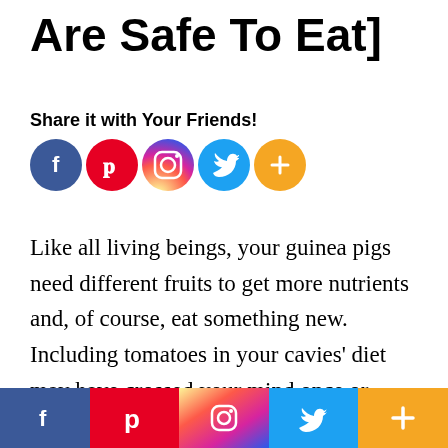Are Safe To Eat]
Share it with Your Friends!
[Figure (infographic): Row of 5 social media icon circles: Facebook (blue), Pinterest (red), Instagram (gradient), Twitter (light blue), More/Plus (orange)]
Like all living beings, your guinea pigs need different fruits to get more nutrients and, of course, eat something new. Including tomatoes in your cavies’ diet may have crossed your mind once or several times. Since the fruit tastes sweet and looks harmless, it is normal to keep wond
[Figure (infographic): Bottom share bar with 5 sections: Facebook (blue), Pinterest (red), Instagram (gradient), Twitter (light blue), More/Plus (orange) with white icons]